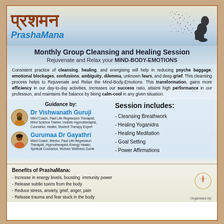प्रशमन PrashaMana
Monthly Group Cleansing and Healing Session
Rejuvenate and Relax your MIND-BODY-EMOTIONS
Consistent practice of cleansing, healing, and energising will help in reducing psyche baggage, emotional blockages, confusions, ambiguity, dilemma, unknown fears, and deep grief. This cleansing process helps to Rejuvenate and Relax the Mind-Body-Emotions. This transformation, gains more efficiency in our day-to-day activities, increases our success ratio, attains high performance in our profession, and maintains the balance by being calm-cool in any given situation.
Guidance by:
Dr Vishwanath Guruji
Mind Coach, Past Life Regression Therapist, Mind Science Trainer, Holistic Hypnotherapist, Counselor, Healer, Student Therapy Expert
Gurumaa Dr Gayathri
Mind Coach, Mentor, Past Life Regression Therapist, Hypnotherapist, Energy Healer, Spiritual Counselor, Women Wellness Guide
Session includes:
- Cleansing Breathwork
- Healing Yoganidra
- Healing Meditation
- Goal Setting
- Power Affirmations
Benefits of PrashaMana:
- Increase in energy levels, boosting immunity power
- Release subtle toxins from the body
- Reduce stress, anxiety, grief, anger, pain
- Release trauma and fear stuck in the body
Organised by: